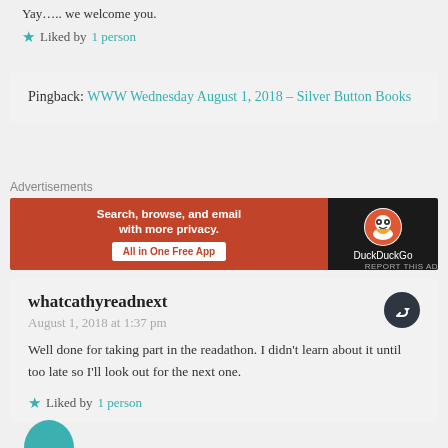Yay….. we welcome you.
Liked by 1 person
Pingback: WWW Wednesday August 1, 2018 – Silver Button Books
Advertisements
[Figure (infographic): DuckDuckGo advertisement banner: orange left panel with text 'Search, browse, and email with more privacy. All in One Free App' and dark right panel with DuckDuckGo logo and name.]
REPORT THIS AD
whatcathyreadnext
August 1, 2018 at 1:37 pm

Well done for taking part in the readathon. I didn't learn about it until too late so I'll look out for the next one.

Liked by 1 person